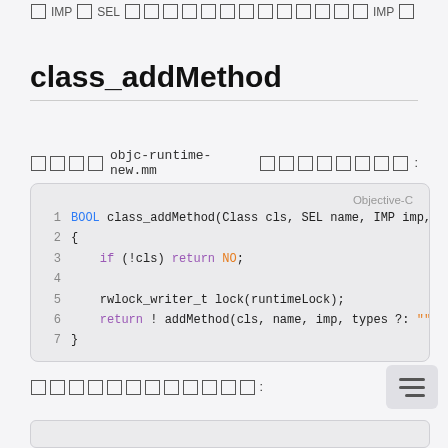□ IMP□SEL □□□□□□□□□□□□□ IMP□
class_addMethod
□□□□  objc-runtime-new.mm  □□□□□□□□:
[Figure (screenshot): Objective-C code block showing class_addMethod function implementation with syntax highlighting. Lines 1-7 showing: BOOL class_addMethod(Class cls, SEL name, IMP imp, con... { if (!cls) return NO; rwlock_writer_t lock(runtimeLock); return ! addMethod(cls, name, imp, types ?: "", NO); }]
□□□□□□□□□□□□: